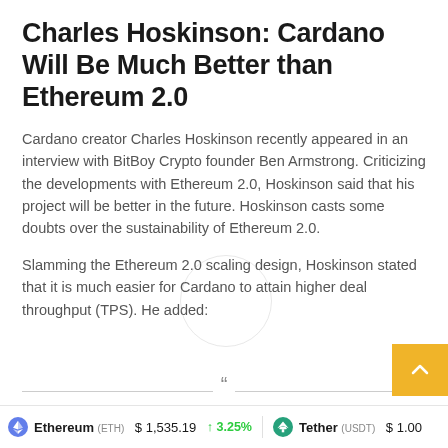Charles Hoskinson: Cardano Will Be Much Better than Ethereum 2.0
Cardano creator Charles Hoskinson recently appeared in an interview with BitBoy Crypto founder Ben Armstrong. Criticizing the developments with Ethereum 2.0, Hoskinson said that his project will be better in the future. Hoskinson casts some doubts over the sustainability of Ethereum 2.0.
Slamming the Ethereum 2.0 scaling design, Hoskinson stated that it is much easier for Cardano to attain higher deal throughput (TPS). He added:
Ethereum (ETH) $1,535.19 ↑3.25%   Tether (USDT) $1.00